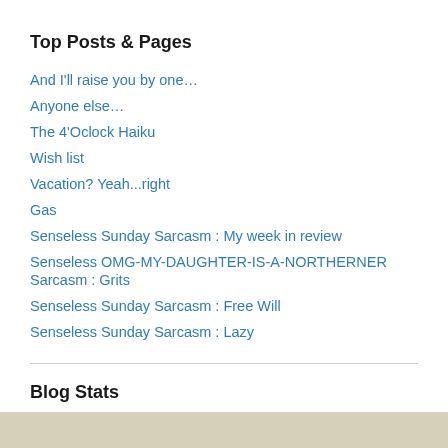Top Posts & Pages
And I'll raise you by one…
Anyone else…
The 4'Oclock Haiku
Wish list
Vacation? Yeah...right
Gas
Senseless Sunday Sarcasm : My week in review
Senseless OMG-MY-DAUGHTER-IS-A-NORTHERNER Sarcasm : Grits
Senseless Sunday Sarcasm : Free Will
Senseless Sunday Sarcasm : Lazy
Blog Stats
118,305 hits